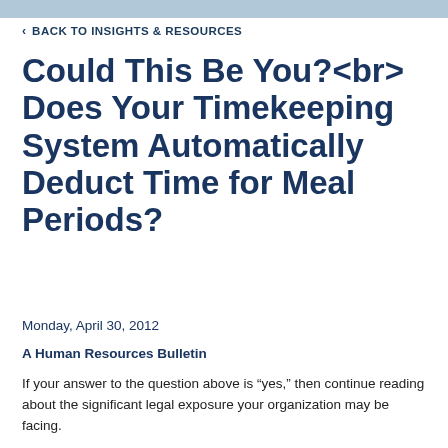BACK TO INSIGHTS & RESOURCES
Could This Be You?<br> Does Your Timekeeping System Automatically Deduct Time for Meal Periods?
Monday, April 30, 2012
A Human Resources Bulletin
If your answer to the question above is “yes,” then continue reading about the significant legal exposure your organization may be facing.